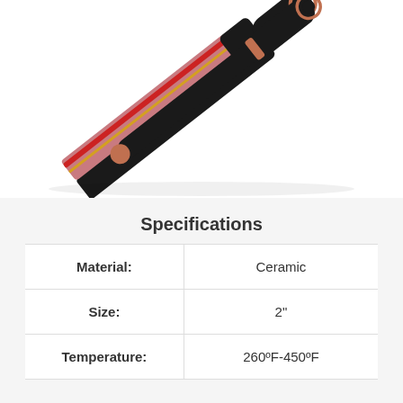[Figure (photo): Two black and rose gold hair styling tools (flat iron and curling wand) photographed at an angle on a white background]
Specifications
| Material: | Ceramic |
| Size: | 2" |
| Temperature: | 260ºF-450ºF |